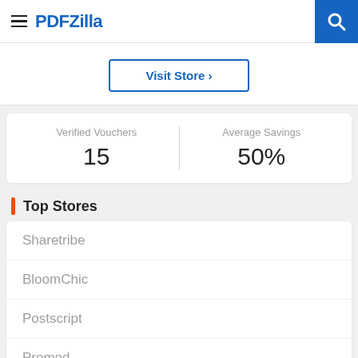PDFZilla
Visit Store >
| Verified Vouchers | Average Savings |
| --- | --- |
| 15 | 50% |
Top Stores
Sharetribe
BloomChic
Postscript
Promod
Audible
Char-Broil